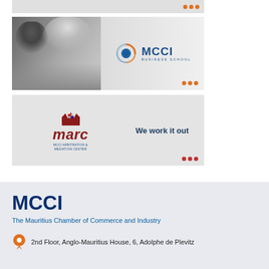[Figure (illustration): Top partial banner with orange dots on right side, light gray background]
[Figure (illustration): MCCI Business School banner with black-and-white photo of two people on left, MCCI Business School logo (globe with orange/blue swirl and blue MCCI text) on right, orange dots bottom right]
[Figure (illustration): MARC - MCCI Arbitration & Mediation Center banner with red crest and italic red marc logo on left, tagline 'We work it out' in dark blue on right, red dots bottom right]
MCCI
The Mauritius Chamber of Commerce and Industry
2nd Floor, Anglo-Mauritius House, 6, Adolphe de Plevitz